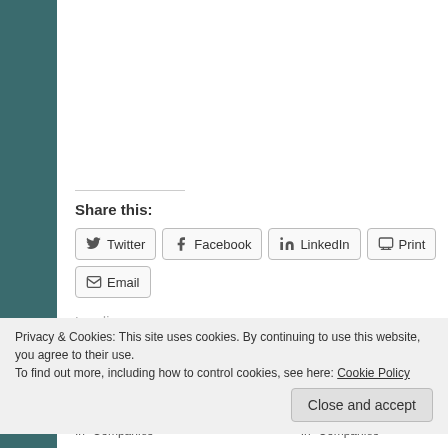Share this:
Twitter
Facebook
LinkedIn
Print
Email
Loading...
Privacy & Cookies: This site uses cookies. By continuing to use this website, you agree to their use.
To find out more, including how to control cookies, see here: Cookie Policy
Close and accept
In "Companies"
In "Companies"